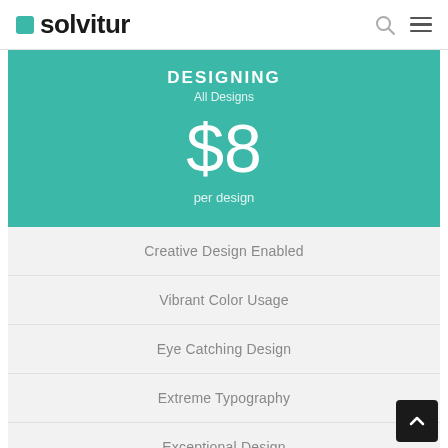solvitur
DESIGNING
All Designs
$8
per design
Creative Design Enabled
Vibrant Color Usage
Eye Catching Design
Extreme Typography
Exceptional Design